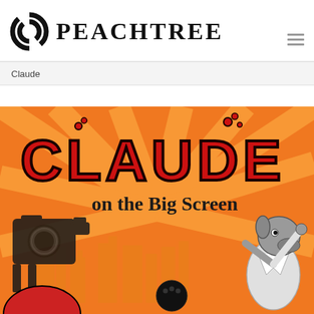[Figure (logo): Peachtree Publishers logo: circular interlocking C-shape icon followed by the word PEACHTREE in bold serif capitals]
Claude
[Figure (illustration): Book cover for 'Claude on the Big Screen' — orange background with radiating sunburst lines, large red bone-decorated title text 'CLAUDE' at top, subtitle 'on the Big Screen' in black serif below, a cartoon dog character in a white lab coat on the right, a vintage film camera silhouette on the left, and a cityscape silhouette at the bottom]